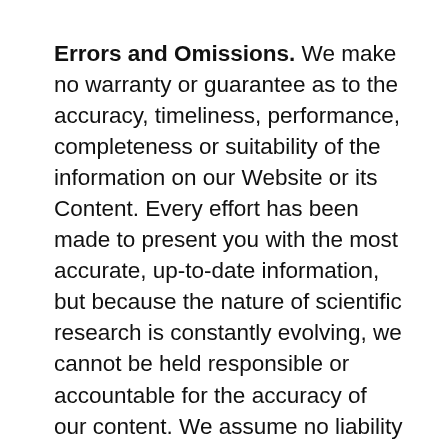Errors and Omissions. We make no warranty or guarantee as to the accuracy, timeliness, performance, completeness or suitability of the information on our Website or its Content. Every effort has been made to present you with the most accurate, up-to-date information, but because the nature of scientific research is constantly evolving, we cannot be held responsible or accountable for the accuracy of our content. We assume no liability for errors or omissions on the Website, its Content, or in other information referenced by or linked to the site. You acknowledge that such information may contain inaccuracies or errors to the fullest extent permitted by law.
Links to Other Websites